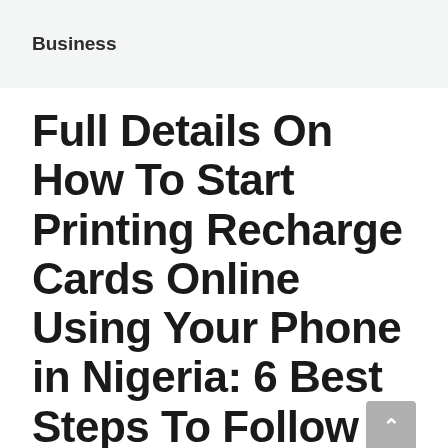Business
Full Details On How To Start Printing Recharge Cards Online Using Your Phone in Nigeria: 6 Best Steps To Follow
August 31, 2022 by admin